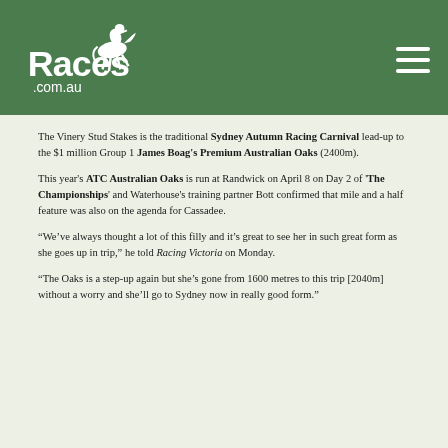Races.com.au
The Vinery Stud Stakes is the traditional Sydney Autumn Racing Carnival lead-up to the $1 million Group 1 James Boag's Premium Australian Oaks (2400m).
This year's ATC Australian Oaks is run at Randwick on April 8 on Day 2 of 'The Championships' and Waterhouse's training partner Bott confirmed that mile and a half feature was also on the agenda for Cassadee.
“We’ve always thought a lot of this filly and it’s great to see her in such great form as she goes up in trip,” he told Racing Victoria on Monday.
“The Oaks is a step-up again but she’s gone from 1600 metres to this trip [2040m] without a worry and she’ll go to Sydney now in really good form.”